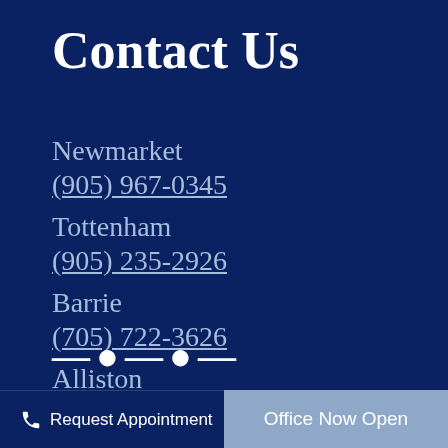Contact Us
Newmarket
(905) 967-0345
Tottenham
(905) 235-2926
Barrie
(705) 722-3626
Alliston
(705) 250-8884
Request Appointment
Office Now Open